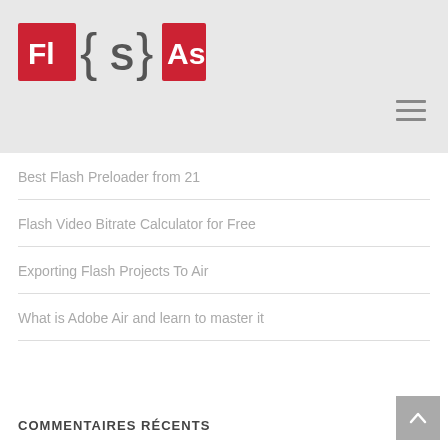[Figure (logo): FlSAs logo with red squares for Fl and As, curly braces around S in gray]
[Figure (other): Hamburger menu icon with three horizontal lines]
Best Flash Preloader from 21
Flash Video Bitrate Calculator for Free
Exporting Flash Projects To Air
What is Adobe Air and learn to master it
COMMENTAIRES RÉCENTS
SPONSORS
[Figure (other): Scroll to top button with upward arrow]